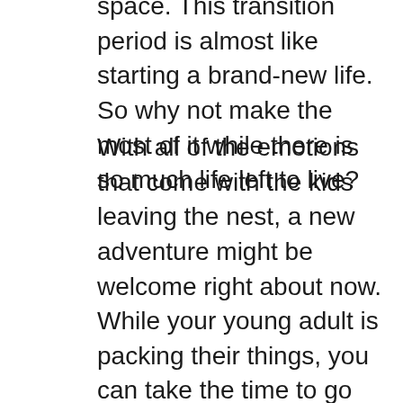space. This transition period is almost like starting a brand-new life. So why not make the most of it while there is so much life left to live?
With all of the emotions that come with the kids leaving the nest, a new adventure might be welcome right about now. While your young adult is packing their things, you can take the time to go through yours. Give them the furniture pieces you no longer need and let them take care of the heavy lifting for you. It's the perfect time to downsize the family house and create a new cozy home to enjoy in the years to come. Along with the excitement of starting something new during this chapter, there are plenty of other reasons why it might be the perfect time to downsize to a new home. These are just a few of the benefits: